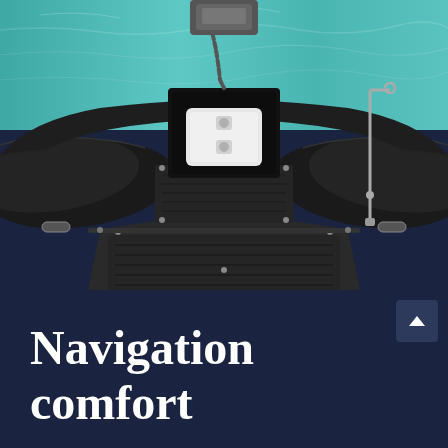[Figure (photo): Overhead view of a black inflatable boat (RIB) showing the bow section with dark rubber pontoons, wooden deck panels, a white access hatch/panel mounted on a black housing/console in the center, anchor chain visible at top, and stainless steel rod holder on the right side. Turquoise water visible in background.]
Navigation comfort